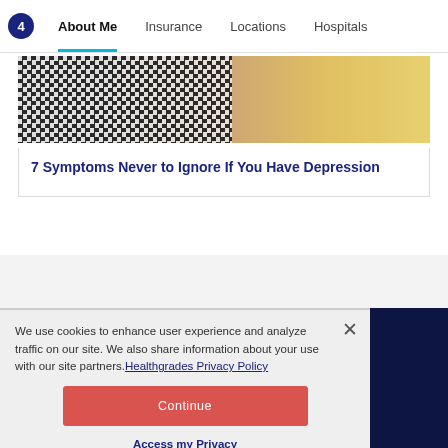About Me | Insurance | Locations | Hospitals
[Figure (photo): Person wearing a black and white checkered shirt with a warm background]
7 Symptoms Never to Ignore If You Have Depression
We use cookies to enhance user experience and analyze traffic on our site. We also share information about your use with our site partners. Healthgrades Privacy Policy
Continue
Access my Privacy Preferences